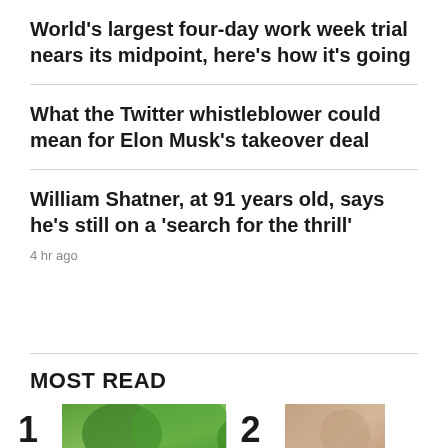World's largest four-day work week trial nears its midpoint, here's how it's going
What the Twitter whistleblower could mean for Elon Musk's takeover deal
William Shatner, at 91 years old, says he's still on a 'search for the thrill'
4 hr ago
MOST READ
1
[Figure (photo): Outdoor photo with green trees and a brick building in background]
2
[Figure (photo): Partial photo with warm brown/amber tones]